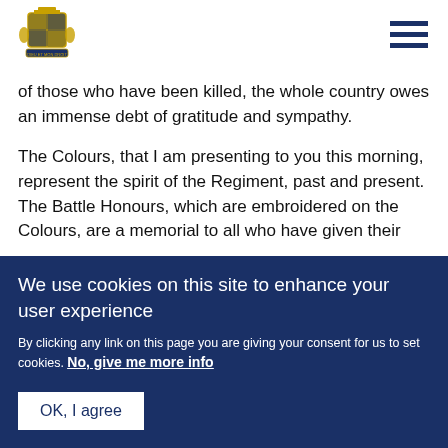[Royal Coat of Arms logo] [Hamburger menu icon]
of those who have been killed, the whole country owes an immense debt of gratitude and sympathy.
The Colours, that I am presenting to you this morning, represent the spirit of the Regiment, past and present. The Battle Honours, which are embroidered on the Colours, are a memorial to all who have given their
We use cookies on this site to enhance your user experience
By clicking any link on this page you are giving your consent for us to set cookies. No, give me more info
OK, I agree